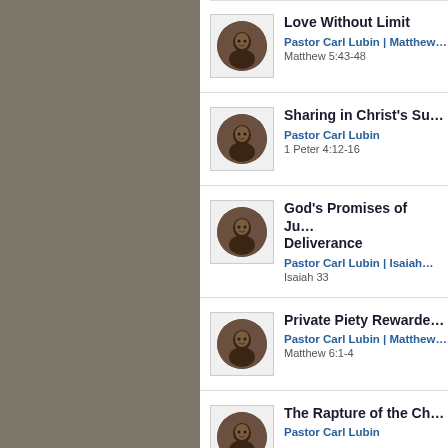Love Without Limit | Pastor Carl Lubin | Matthew... | Matthew 5:43-48
Sharing in Christ's Su... | Pastor Carl Lubin | 1 Peter 4:12-16
God's Promises of Ju... Deliverance | Pastor Carl Lubin | Isaiah | Isaiah 33
Private Piety Rewarde... | Pastor Carl Lubin | Matthew... | Matthew 6:1-4
The Rapture of the Ch... | Pastor Carl Lubin | 1 Thessalonians 4:13-18